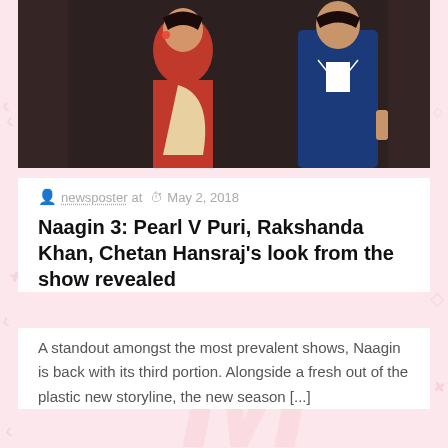[Figure (photo): Cropped top portion of a photo showing a woman in a red saree and a man in a blue suit, posed together against a dark studio background]
newsposter at  May 2, 2018
Naagin 3: Pearl V Puri, Rakshanda Khan, Chetan Hansraj's look from the show revealed
A standout amongst the most prevalent shows, Naagin is back with its third portion. Alongside a fresh out of the plastic new storyline, the new season [...]
0   Read more
[Figure (photo): Partially visible photo of a young male actor with a serious/intense expression, dramatic dark lighting, short dark hair, wearing a dark tank top — cropped closeup showing face and upper body]